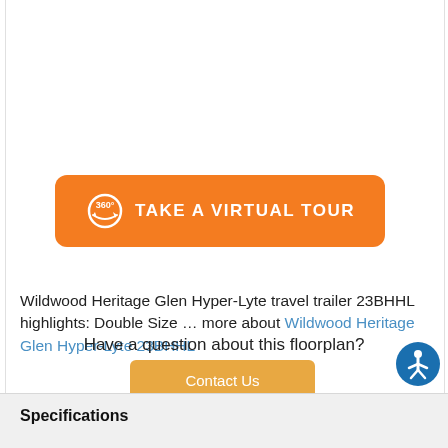[Figure (schematic): Partial view of a product schematic/diagram showing labeled parts including spark port, LP quick connect, and other components at the top of the page]
[Figure (other): Orange rounded button with 360-degree icon and text TAKE A VIRTUAL TOUR]
Wildwood Heritage Glen Hyper-Lyte travel trailer 23BHHL highlights: Double Size … more about Wildwood Heritage Glen Hyper-Lyte 23BHHL
Have a question about this floorplan?
[Figure (other): Orange/tan Contact Us button]
Specifications